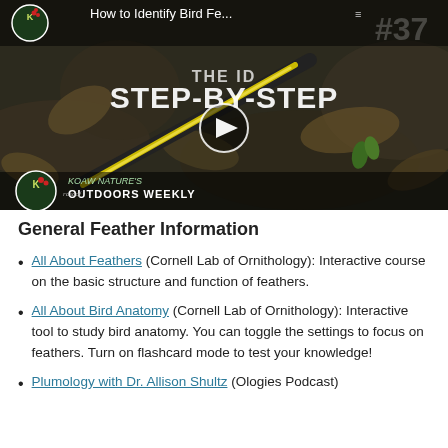[Figure (screenshot): Video thumbnail showing a bird feather on forest ground with text 'How to Identify Bird Fe...' and 'STEP-BY-STEP', play button in center, KOAW Nature's Outdoors Weekly branding, episode #37]
General Feather Information
All About Feathers (Cornell Lab of Ornithology): Interactive course on the basic structure and function of feathers.
All About Bird Anatomy (Cornell Lab of Ornithology): Interactive tool to study bird anatomy. You can toggle the settings to focus on feathers. Turn on flashcard mode to test your knowledge!
Plumology with Dr. Allison Shultz (Ologies Podcast)